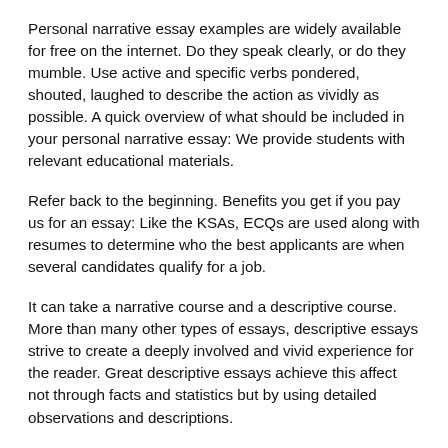Personal narrative essay examples are widely available for free on the internet. Do they speak clearly, or do they mumble. Use active and specific verbs pondered, shouted, laughed to describe the action as vividly as possible. A quick overview of what should be included in your personal narrative essay: We provide students with relevant educational materials.
Refer back to the beginning. Benefits you get if you pay us for an essay: Like the KSAs, ECQs are used along with resumes to determine who the best applicants are when several candidates qualify for a job.
It can take a narrative course and a descriptive course. More than many other types of essays, descriptive essays strive to create a deeply involved and vivid experience for the reader. Great descriptive essays achieve this affect not through facts and statistics but by using detailed observations and descriptions.